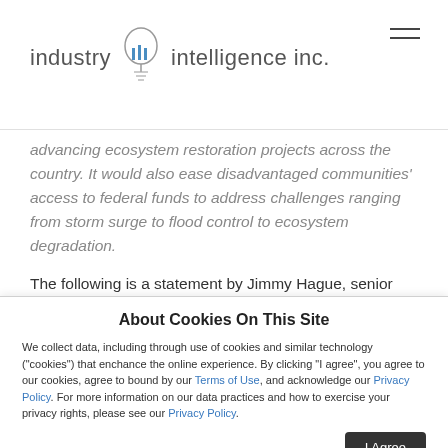industry iii intelligence inc.
...advancing ecosystem restoration projects across the country. It would also ease disadvantaged communities' access to federal funds to address challenges ranging from storm surge to flood control to ecosystem degradation.
The following is a statement by Jimmy Hague, senior policy advisor at The Nature Conservancy:
“Nature can be a powerful tool for solving the challenges facing our coasts, waterways, ecosystems and communities.
About Cookies On This Site
We collect data, including through use of cookies and similar technology ("cookies") that enchance the online experience. By clicking "I agree", you agree to our cookies, agree to bound by our Terms of Use, and acknowledge our Privacy Policy. For more information on our data practices and how to exercise your privacy rights, please see our Privacy Policy.